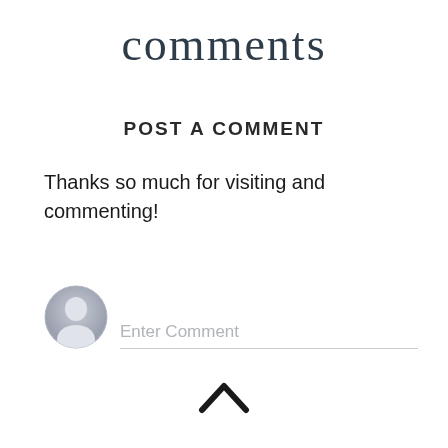comments
POST A COMMENT
Thanks so much for visiting and commenting!
[Figure (illustration): Circular user avatar placeholder icon with grey silhouette of a person, followed by 'Enter Comment' placeholder text and a horizontal input line below]
[Figure (illustration): Upward-pointing chevron/caret arrow icon at bottom center of page]